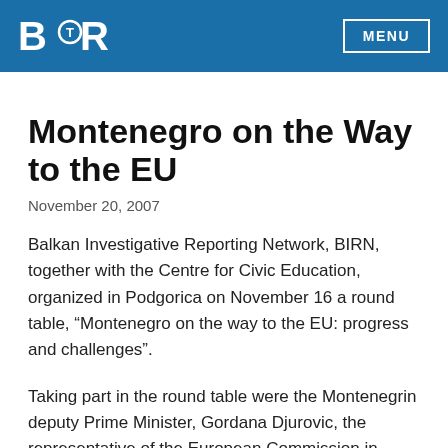BIRN
Montenegro on the Way to the EU
November 20, 2007
Balkan Investigative Reporting Network, BIRN, together with the Centre for Civic Education, organized in Podgorica on November 16 a round table, “Montenegro on the way to the EU: progress and challenges”.
Taking part in the round table were the Montenegrin deputy Prime Minister, Gordana Djurovic, the representative of the European Commission in Montenegro, Eric Trotemann, and